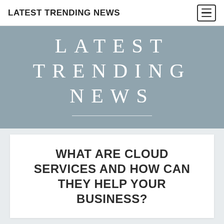LATEST TRENDING NEWS
LATEST TRENDING NEWS
WHAT ARE CLOUD SERVICES AND HOW CAN THEY HELP YOUR BUSINESS?